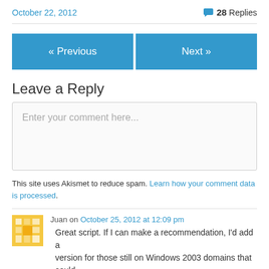October 22, 2012
28 Replies
« Previous
Next »
Leave a Reply
Enter your comment here...
This site uses Akismet to reduce spam. Learn how your comment data is processed.
Juan on October 25, 2012 at 12:09 pm
Great script. If I can make a recommendation, I'd add a version for those still on Windows 2003 domains that could